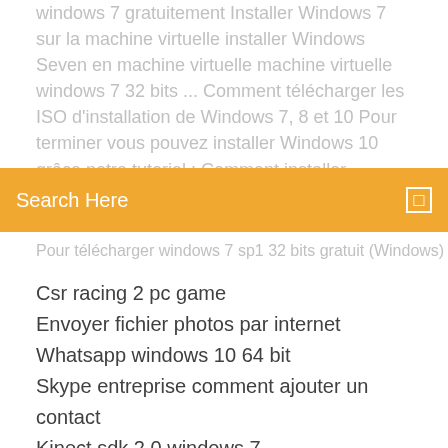windows 7 gratuitement Installer Windows 7 sur la machine virtuelle installer Windows Seven en machine virtuelle machine virtuelle windows 7 32 bits ... Comment télécharger les ISO d'installation de Windows 7, 8 et 10 Pour terminer vous pouvez installer Windows 10 grâce notre tutoriel : Comment installer Windows 10. Windows 8.1 et utiliser comment télécharger l'ISO
[Figure (screenshot): Orange search bar with 'Search Here' placeholder text and a small square icon on the right]
Pour télécharger windows 7 sp1 32 bits gratuit (Windows)
Csr racing 2 pc game
Envoyer fichier photos par internet
Whatsapp windows 10 64 bit
Skype entreprise comment ajouter un contact
Kinect sdk 2.0 windows 7
Lombre de la guerre solution ithildin
La caf.fr rubrique mon compte
Itunes gratuit windows 7 64 bits
Grand theft auto v the manual gratuit télécharger